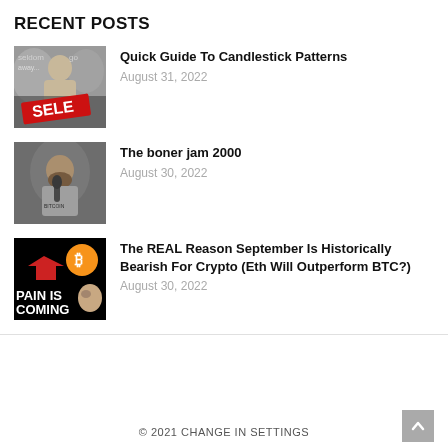RECENT POSTS
[Figure (photo): Thumbnail image for 'Quick Guide To Candlestick Patterns' showing a person with text 'seldom goes away' and 'SELE' overlay in red]
Quick Guide To Candlestick Patterns
August 31, 2022
[Figure (photo): Thumbnail image for 'The boner jam 2000' showing a bearded man at a microphone]
The boner jam 2000
August 30, 2022
[Figure (photo): Thumbnail image for the REAL Reason September post showing Bitcoin logo, red arrow, and text 'PAIN IS COMING' with a person]
The REAL Reason September Is Historically Bearish For Crypto (Eth Will Outperform BTC?)
August 30, 2022
© 2021 CHANGE IN SETTINGS